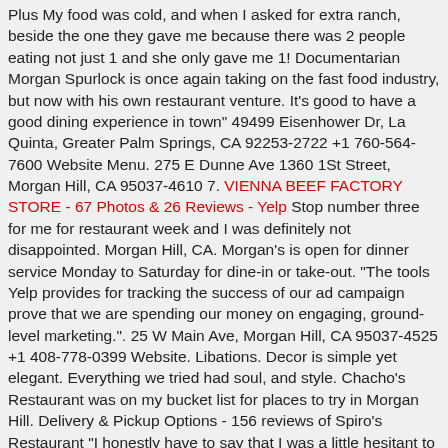Plus My food was cold, and when I asked for extra ranch, beside the one they gave me because there was 2 people eating not just 1 and she only gave me 1! Documentarian Morgan Spurlock is once again taking on the fast food industry, but now with his own restaurant venture. It's good to have a good dining experience in town" 49499 Eisenhower Dr, La Quinta, Greater Palm Springs, CA 92253-2722 +1 760-564-7600 Website Menu. 275 E Dunne Ave 1360 1St Street, Morgan Hill, CA 95037-4610 7. VIENNA BEEF FACTORY STORE - 67 Photos & 26 Reviews - Yelp Stop number three for me for restaurant week and I was definitely not disappointed. Morgan Hill, CA. Morgan's is open for dinner service Monday to Saturday for dine-in or take-out. "The tools Yelp provides for tracking the success of our ad campaign prove that we are spending our money on engaging, ground-level marketing.". 25 W Main Ave, Morgan Hill, CA 95037-4525 +1 408-778-0399 Website. Libations. Decor is simple yet elegant. Everything we tried had soul, and style. Chacho's Restaurant was on my bucket list for places to try in Morgan Hill. Delivery & Pickup Options - 156 reviews of Spiro's Restaurant "I honestly have to say that I was a little hesitant to come here. Additionally, anti-SLAPP laws, such as Cal. Craft is where you can enjoy